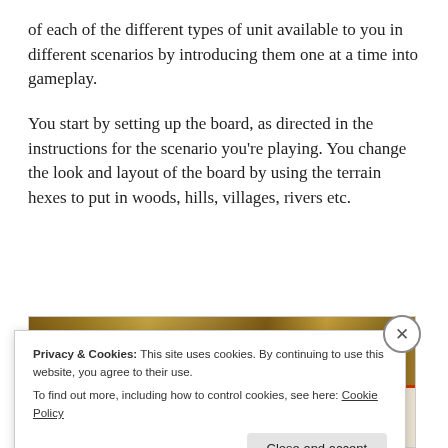of each of the different types of unit available to you in different scenarios by introducing them one at a time into gameplay.
You start by setting up the board, as directed in the instructions for the scenario you're playing. You change the look and layout of the board by using the terrain hexes to put in woods, hills, villages, rivers etc.
[Figure (photo): Partial view of a game board with terrain hexes, partially obscured by a cookie consent banner]
Privacy & Cookies: This site uses cookies. By continuing to use this website, you agree to their use.
To find out more, including how to control cookies, see here: Cookie Policy